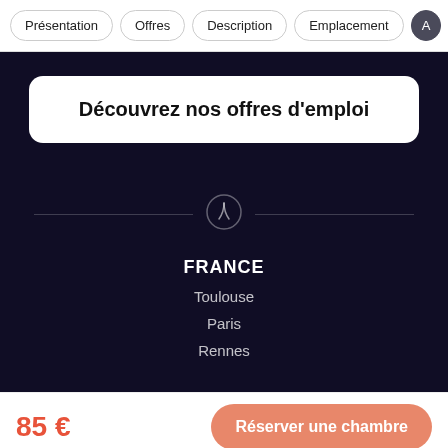Présentation | Offres | Description | Emplacement | A
Découvrez nos offres d'emploi
FRANCE
Toulouse
Paris
Rennes
85 €
Réserver une chambre